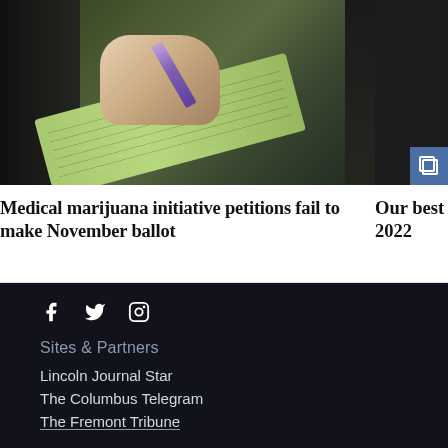[Figure (photo): Close-up photo of a hand signing or writing on a petition clipboard with a purple pen, green clipboard visible]
Medical marijuana initiative petitions fail to make November ballot
[Figure (photo): Partially visible image at right edge with a blue copy/document icon overlay, headline 'Our best 2022']
Our best 2022
f  Twitter  Instagram
Sites & Partners
Lincoln Journal Star
The Columbus Telegram
The Fremont Tribune